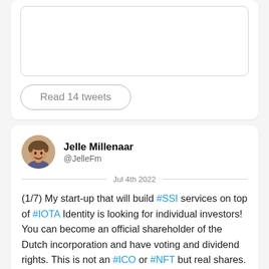[Figure (screenshot): Partial tweet card showing an inner bordered box and a 'Read 14 tweets' button]
Read 14 tweets
[Figure (photo): Avatar photo of Jelle Millenaar, a man with short hair smiling]
Jelle Millenaar
@JelleFm
Jul 4th 2022
(1/7) My start-up that will build #SSI services on top of #IOTA Identity is looking for individual investors! You can become an official shareholder of the Dutch incorporation and have voting and dividend rights. This is not an #ICO or #NFT but real shares. Read about it below🧵